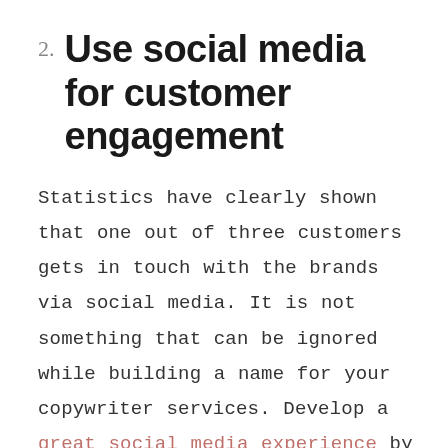2. Use social media for customer engagement
Statistics have clearly shown that one out of three customers gets in touch with the brands via social media. It is not something that can be ignored while building a name for your copywriter services. Develop a great social media experience by having a team in place for representing the voice of the brand on social media. Use all the available tools for managing and responding to compliments, complaints, and mentions. Develop competitive taglines for interaction with the followers. Utilize social media